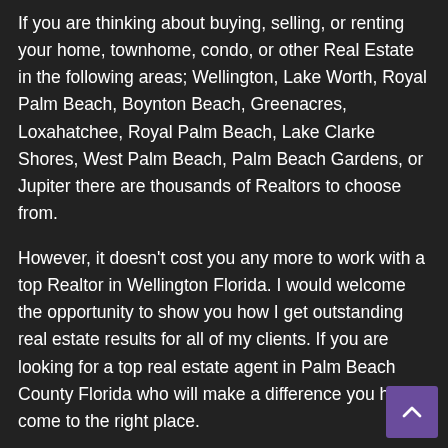If you are thinking about buying, selling, or renting your home, townhome, condo, or other Real Estate in the following areas; Wellington, Lake Worth, Royal Palm Beach, Boynton Beach, Greenacres, Loxahatchee, Royal Palm Beach, Lake Clarke Shores, West Palm Beach, Palm Beach Gardens, or Jupiter there are thousands of Realtors to choose from.
However, it doesn't cost you any more to work with a top Realtor in Wellington Florida. I would welcome the opportunity to show you how I get outstanding real estate results for all of my clients. If you are looking for a top real estate agent in Palm Beach County Florida who will make a difference you have come to the right place.